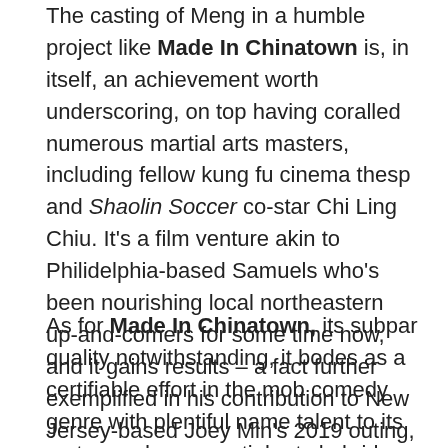The casting of Meng in a humble project like Made In Chinatown is, in itself, an achievement worth underscoring, on top having coralled numerous martial arts masters, including fellow kung fu cinema thesp and Shaolin Soccer co-star Chi Ling Chiu. It's a film venture akin to Philidelphia-based Samuels who's been nourishing local northeastern up-and-comers for some time now, and it gains results – a fact further exemplified in his contribution to New Jersey-based Joey Min's 2019 outing, Yes, Auntie!, and you're welcome to read my thoughts on why.
As for Made In Chinatown, its subpar quality notwithstanding, it bodes as a certifiable effort in the mob comedy genre with plentiful name talent to its roster, and as a martial arts hybrid with Kwon as its star. It falls flat in many select areas in writing and presentation, though it eventually makes it up to viewers with its own colloquial